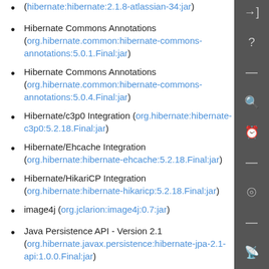(hibernate:hibernate:2.1.8-atlassian-34:jar)
Hibernate Commons Annotations (org.hibernate.common:hibernate-commons-annotations:5.0.1.Final:jar)
Hibernate Commons Annotations (org.hibernate.common:hibernate-commons-annotations:5.0.4.Final:jar)
Hibernate/c3p0 Integration (org.hibernate:hibernate-c3p0:5.2.18.Final:jar)
Hibernate/Ehcache Integration (org.hibernate:hibernate-ehcache:5.2.18.Final:jar)
Hibernate/HikariCP Integration (org.hibernate:hibernate-hikaricp:5.2.18.Final:jar)
image4j (org.jclarion:image4j:0.7:jar)
Java Persistence API - Version 2.1 (org.hibernate.javax.persistence:hibernate-jpa-2.1-api:1.0.0.Final:jar)
JCaptcha (io.leopard.thirdparty:jcaptcha-core:2.0.0:jar)